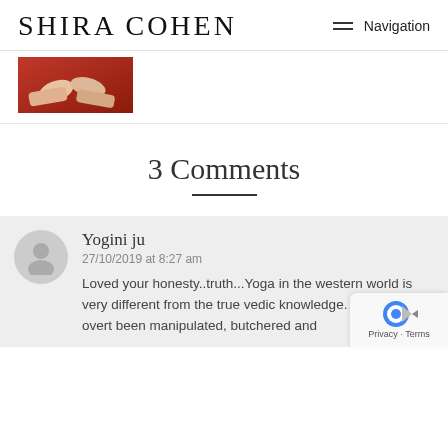SHIRA COHEN   Navigation
[Figure (photo): Thumbnail image showing hands against a red background]
3 Comments
Yogini ju
27/10/2019 at 8:27 am
Loved your honesty..truth...Yoga in the western world is very different from the true vedic knowledge. It has sadly been manipulated, butchered and